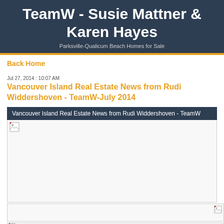TeamW - Susie Mattner & Karen Hayes
Parksville-Qualicum Beach Homes for Sale
Back Home
Jul 27, 2014 : 10:07 AM
Vancouver Island Real Estate News from Rudi Widdershoven - TeamW-July 2014
[Figure (screenshot): Embedded content block with dark navy header bar reading 'Vancouver Island Real Estate News from Rudi Widdershoven - TeamW' and a large white image placeholder area with a broken image icon in the top-left corner]
[Figure (screenshot): Small image placeholder box with broken image icon in the bottom-right corner]
[Figure (screenshot): Tiny image placeholder strip at the very bottom with broken image icon]